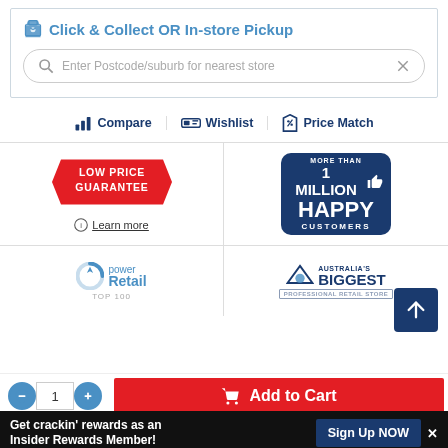Click & Collect OR In-store Pickup
Enter Postcode/suburb for nearest store
Compare   Wishlist   Price Match
[Figure (logo): LOW PRICE GUARANTEE badge in red with diagonal cut edges]
Learn more
[Figure (logo): More than 1 Million Happy Customers badge in dark blue]
[Figure (logo): Power Retail Top 100 logo]
[Figure (logo): Australia's Biggest logo]
1  Add to Cart
Get crackin' rewards as an Insider Rewards Member!
Sign Up NOW ✕